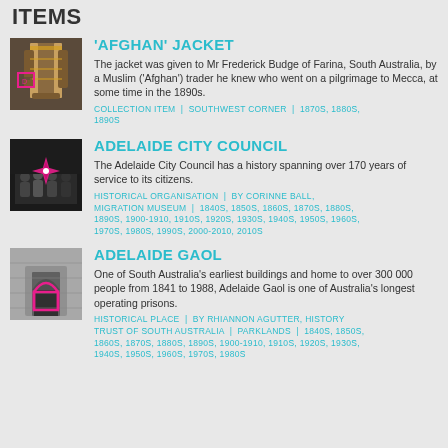ITEMS
[Figure (photo): Afghan jacket - ornate garment with gold trim]
'AFGHAN' JACKET
The jacket was given to Mr Frederick Budge of Farina, South Australia, by a Muslim ('Afghan') trader he knew who went on a pilgrimage to Mecca, at some time in the 1890s.
COLLECTION ITEM  |  SOUTHWEST CORNER  |  1870S, 1880S, 1890S
[Figure (photo): Adelaide City Council - group photo with pink compass rose overlay]
ADELAIDE CITY COUNCIL
The Adelaide City Council has a history spanning over 170 years of service to its citizens.
HISTORICAL ORGANISATION  |  BY CORINNE BALL, MIGRATION MUSEUM  |  1840S, 1850S, 1860S, 1870S, 1880S, 1890S, 1900-1910, 1910S, 1920S, 1930S, 1940S, 1950S, 1960S, 1970S, 1980S, 1990S, 2000-2010, 2010S
[Figure (photo): Adelaide Gaol - arch doorway in black and white with pink arch overlay]
ADELAIDE GAOL
One of South Australia's earliest buildings and home to over 300 000 people from 1841 to 1988, Adelaide Gaol is one of Australia's longest operating prisons.
HISTORICAL PLACE  |  BY RHIANNON AGUTTER, HISTORY TRUST OF SOUTH AUSTRALIA  |  PARKLANDS  |  1840S, 1850S, 1860S, 1870S, 1880S, 1890S, 1900-1910, 1910S, 1920S, 1930S, 1940S, 1950S, 1960S, 1970S, 1980S